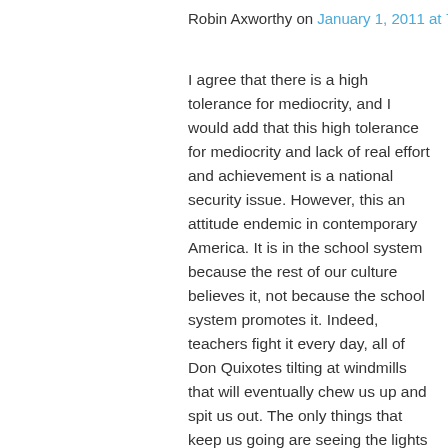Robin Axworthy on January 1, 2011 at 7:26 am
I agree that there is a high tolerance for mediocrity, and I would add that this high tolerance for mediocrity and lack of real effort and achievement is a national security issue. However, this an attitude endemic in contemporary America. It is in the school system because the rest of our culture believes it, not because the school system promotes it. Indeed, teachers fight it every day, all of Don Quixotes tilting at windmills that will eventually chew us up and spit us out. The only things that keep us going are seeing the lights go on in our students' eyes, and the collaboration with our peers. These last rewards are about to be extinguished, too, as we are forced to make sure our students